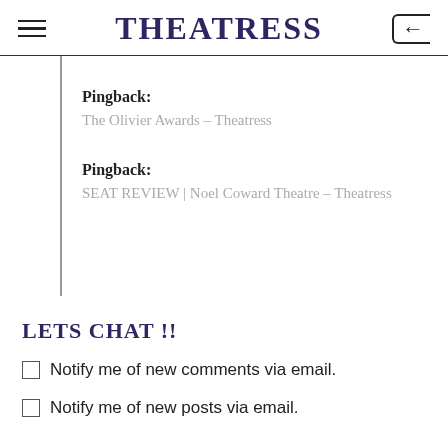THEATRESS
Pingback:
The Olivier Awards – Theatress
Pingback:
SEAT REVIEW | Noel Coward Theatre – Theatress
LETS CHAT !!
Notify me of new comments via email.
Notify me of new posts via email.